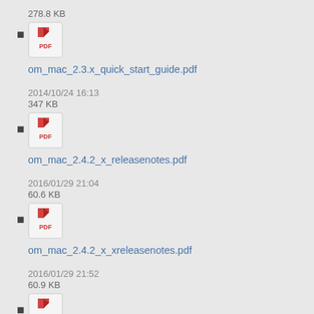278.8 KB
om_mac_2.3.x_quick_start_guide.pdf
2014/10/24 16:13
347 KB
om_mac_2.4.2_x_releasenotes.pdf
2016/01/29 21:04
60.6 KB
om_mac_2.4.2_x_xreleasenotes.pdf
2016/01/29 21:52
60.9 KB
om_mac_2.4.x_quick_start_guide.pdf